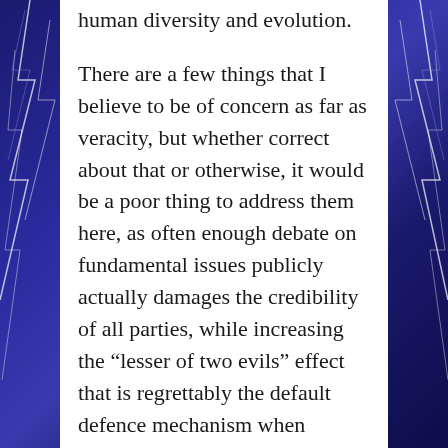human diversity and evolution.

There are a few things that I believe to be of concern as far as veracity, but whether correct about that or otherwise, it would be a poor thing to address them here, as often enough debate on fundamental issues publicly actually damages the credibility of all parties, while increasing the “lesser of two evils” effect that is regrettably the default defence mechanism when